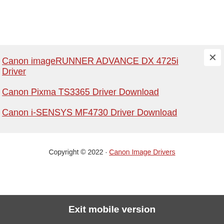Canon imageRUNNER ADVANCE DX 4725i Driver
Canon Pixma TS3365 Driver Download
Canon i-SENSYS MF4730 Driver Download
Copyright © 2022 · Canon Image Drivers
Exit mobile version